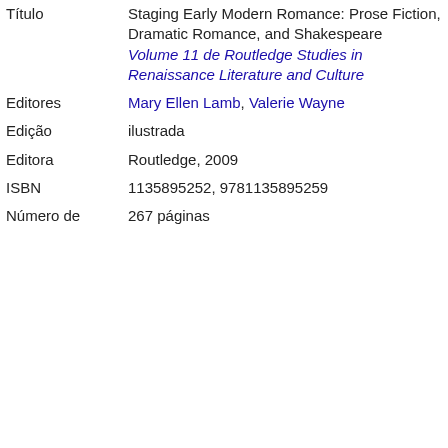| Field | Value |
| --- | --- |
| Título | Staging Early Modern Romance: Prose Fiction, Dramatic Romance, and Shakespeare
Volume 11 de Routledge Studies in Renaissance Literature and Culture |
| Editores | Mary Ellen Lamb, Valerie Wayne |
| Edição | ilustrada |
| Editora | Routledge, 2009 |
| ISBN | 1135895252, 9781135895259 |
| Número de | 267 páginas |